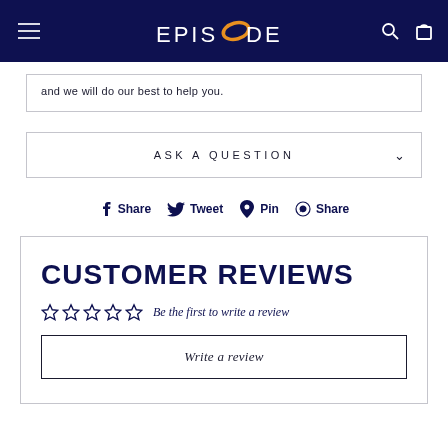EPISODE
and we will do our best to help you.
ASK A QUESTION
Share  Tweet  Pin  Share
CUSTOMER REVIEWS
Be the first to write a review
Write a review